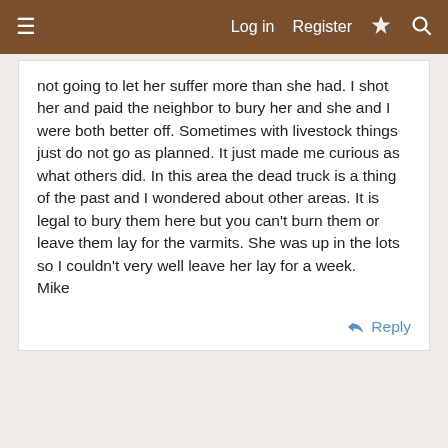≡   Log in   Register   ⚡   🔍
not going to let her suffer more than she had. I shot her and paid the neighbor to bury her and she and I were both better off. Sometimes with livestock things just do not go as planned. It just made me curious as what others did. In this area the dead truck is a thing of the past and I wondered about other areas. It is legal to bury them here but you can't burn them or leave them lay for the varmits. She was up in the lots so I couldn't very well leave her lay for a week.
Mike